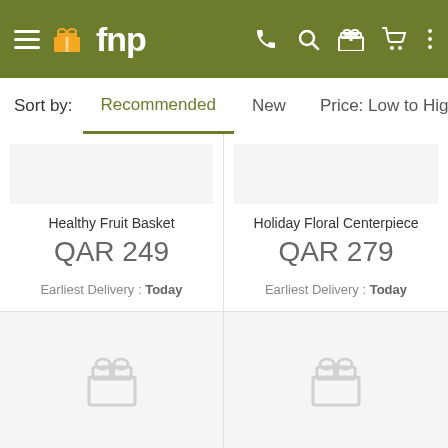fnp
Sort by: Recommended | New | Price: Low to High | Pri...
Healthy Fruit Basket
QAR 249
Earliest Delivery : Today
Holiday Floral Centerpiece
QAR 279
Earliest Delivery : Today
[Figure (other): Placeholder product card with gift icon]
[Figure (other): Placeholder product card with gift icon]